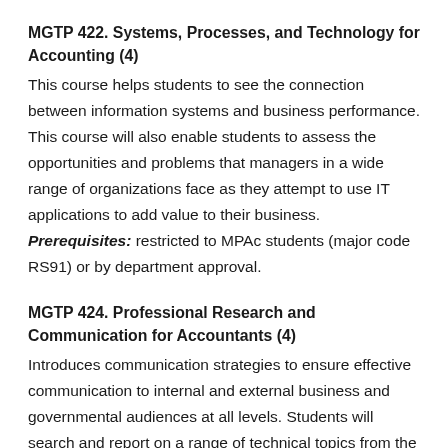MGTP 422. Systems, Processes, and Technology for Accounting (4)
This course helps students to see the connection between information systems and business performance. This course will also enable students to assess the opportunities and problems that managers in a wide range of organizations face as they attempt to use IT applications to add value to their business. Prerequisites: restricted to MPAc students (major code RS91) or by department approval.
MGTP 424. Professional Research and Communication for Accountants (4)
Introduces communication strategies to ensure effective communication to internal and external business and governmental audiences at all levels. Students will search and report on a range of technical topics from the